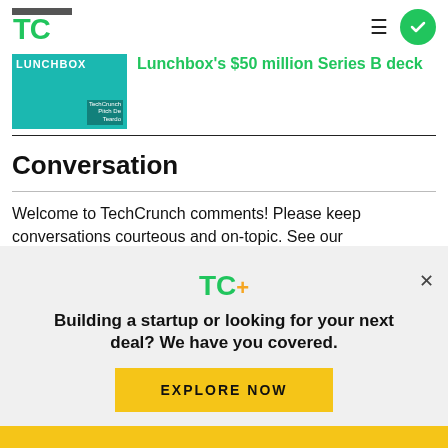TechCrunch
[Figure (photo): Lunchbox article thumbnail with teal/turquoise background and LUNCHBOX text]
Lunchbox's $50 million Series B deck
Conversation
Welcome to TechCrunch comments! Please keep conversations courteous and on-topic. See our
[Figure (infographic): TC+ promotional modal overlay with 'Building a startup or looking for your next deal? We have you covered.' headline and EXPLORE NOW button]